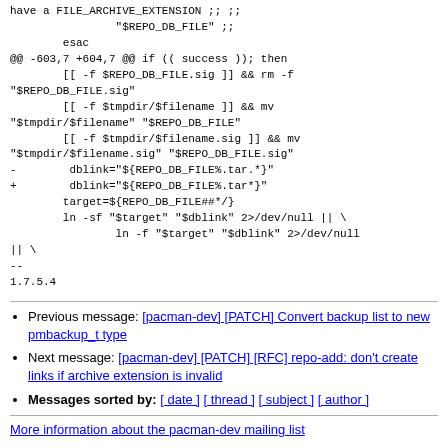have a FILE_ARCHIVE_EXTENSION ; ;;
                "$REPO_DB_FILE" ;;
        esac
@@ -603,7 +604,7 @@ if (( success )); then
        [[ -f $REPO_DB_FILE.sig ]] && rm -f "$REPO_DB_FILE.sig"
        [[ -f $tmpdir/$filename ]] && mv "$tmpdir/$filename" "$REPO_DB_FILE"
        [[ -f $tmpdir/$filename.sig ]] && mv "$tmpdir/$filename.sig" "$REPO_DB_FILE.sig"
-        dblink="${REPO_DB_FILE%.tar.*}"
+        dblink="${REPO_DB_FILE%.tar*}"
        target=${REPO_DB_FILE##*/}
        ln -sf "$target" "$dblink" 2>/dev/null || \
                ln -f "$target" "$dblink" 2>/dev/null || \
--
1.7.5.4
Previous message: [pacman-dev] [PATCH] Convert backup list to new pmbackup_t type
Next message: [pacman-dev] [PATCH] [RFC] repo-add: don't create links if archive extension is invalid
Messages sorted by: [ date ] [ thread ] [ subject ] [ author ]
More information about the pacman-dev mailing list